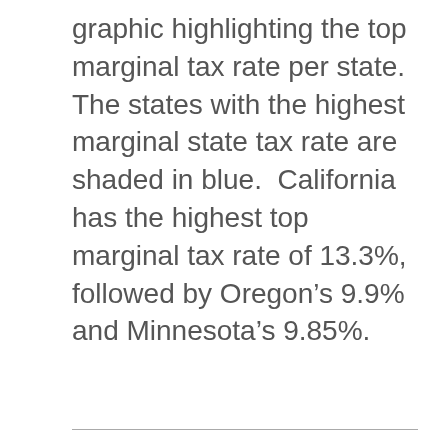graphic highlighting the top marginal tax rate per state.  The states with the highest marginal state tax rate are shaded in blue.  California has the highest top marginal tax rate of 13.3%, followed by Oregon's 9.9% and Minnesota's 9.85%.